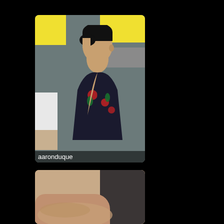[Figure (screenshot): Screenshot of a streaming/video chat interface showing a young man with short dark hair wearing a floral shirt in a room with yellow and gray background. Username label 'aaronduque' shown at bottom of card.]
[Figure (screenshot): Second video thumbnail showing a partial view of a person, cropped at bottom of page.]